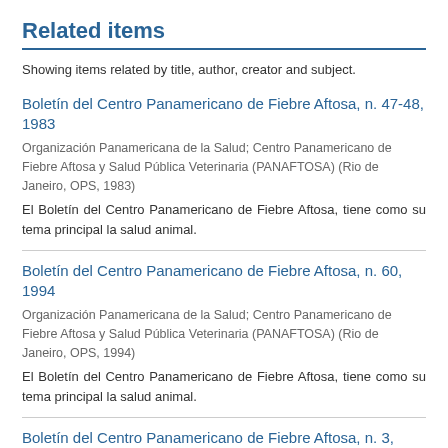Related items
Showing items related by title, author, creator and subject.
Boletín del Centro Panamericano de Fiebre Aftosa, n. 47-48, 1983
Organización Panamericana de la Salud; Centro Panamericano de Fiebre Aftosa y Salud Pública Veterinaria (PANAFTOSA) (Rio de Janeiro, OPS, 1983)
El Boletín del Centro Panamericano de Fiebre Aftosa, tiene como su tema principal la salud animal.
Boletín del Centro Panamericano de Fiebre Aftosa, n. 60, 1994
Organización Panamericana de la Salud; Centro Panamericano de Fiebre Aftosa y Salud Pública Veterinaria (PANAFTOSA) (Rio de Janeiro, OPS, 1994)
El Boletín del Centro Panamericano de Fiebre Aftosa, tiene como su tema principal la salud animal.
Boletín del Centro Panamericano de Fiebre Aftosa, n. 3,